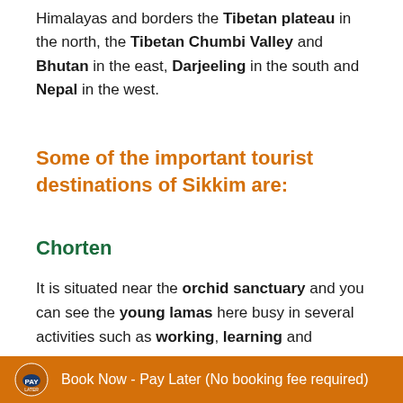Himalayas and borders the Tibetan plateau in the north, the Tibetan Chumbi Valley and Bhutan in the east, Darjeeling in the south and Nepal in the west.
Some of the important tourist destinations of Sikkim are:
Chorten
It is situated near the orchid sanctuary and you can see the young lamas here busy in several activities such as working, learning and
Book Now - Pay Later (No booking fee required)